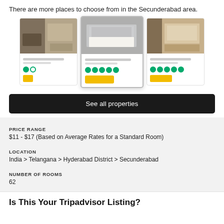There are more places to choose from in the Secunderabad area.
[Figure (illustration): Three hotel room card previews with TripAdvisor bubble rating icons and yellow price buttons]
See all properties
PRICE RANGE
$11 - $17 (Based on Average Rates for a Standard Room)
LOCATION
India > Telangana > Hyderabad District > Secunderabad
NUMBER OF ROOMS
62
Is This Your Tripadvisor Listing?